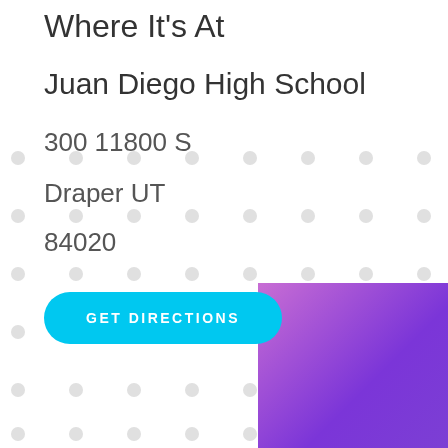Where It's At
Juan Diego High School
300 11800 S
Draper UT
84020
GET DIRECTIONS
[Figure (illustration): Gradient rectangle with purple-to-violet gradient, partially visible in bottom-right corner]